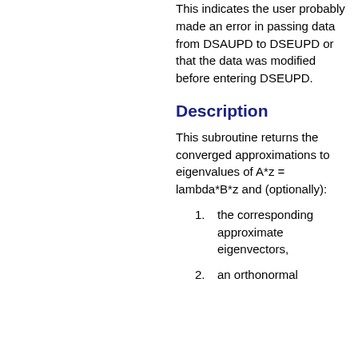This indicates the user probably made an error in passing data from DSAUPD to DSEUPD or that the data was modified before entering DSEUPD.
Description
This subroutine returns the converged approximations to eigenvalues of A*z = lambda*B*z and (optionally):
the corresponding approximate eigenvectors,
an orthonormal